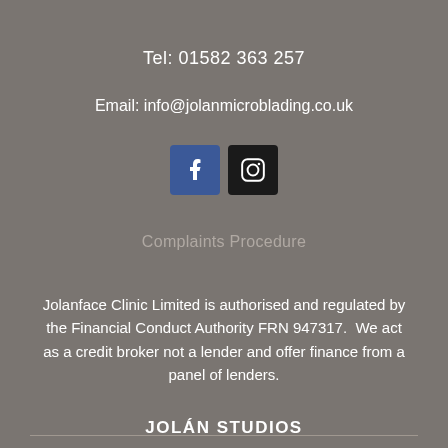Tel: 01582 363 257
Email: info@jolanmicroblading.co.uk
[Figure (illustration): Facebook and Instagram social media icons side by side]
Complaints Procedure
Jolanface Clinic Limited is authorised and regulated by the Financial Conduct Authority FRN 947317.  We act as a credit broker not a lender and offer finance from a panel of lenders.
JOLÁN STUDIOS